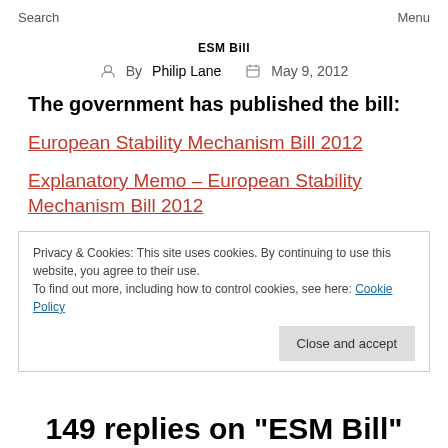Search   Menu
ESM Bill
By Philip Lane   May 9, 2012
The government has published the bill:
European Stability Mechanism Bill 2012
Explanatory Memo – European Stability Mechanism Bill 2012
Privacy & Cookies: This site uses cookies. By continuing to use this website, you agree to their use.
To find out more, including how to control cookies, see here: Cookie Policy
Close and accept
149 replies on "ESM Bill"